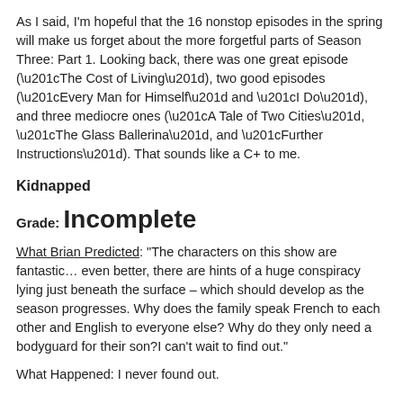As I said, I'm hopeful that the 16 nonstop episodes in the spring will make us forget about the more forgetful parts of Season Three: Part 1. Looking back, there was one great episode (“The Cost of Living”), two good episodes (“Every Man for Himself” and “I Do”), and three mediocre ones (“A Tale of Two Cities”, “The Glass Ballerina”, and “Further Instructions”). That sounds like a C+ to me.
Kidnapped
Grade: Incomplete
What Brian Predicted: "The characters on this show are fantastic… even better, there are hints of a huge conspiracy lying just beneath the surface – which should develop as the season progresses. Why does the family speak French to each other and English to everyone else? Why do they only need a bodyguard for their son?I can't wait to find out."
What Happened: I never found out.